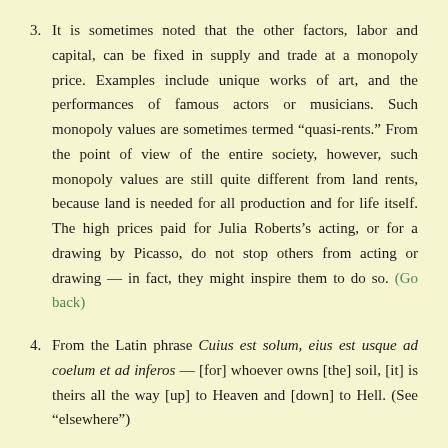3. It is sometimes noted that the other factors, labor and capital, can be fixed in supply and trade at a monopoly price. Examples include unique works of art, and the performances of famous actors or musicians. Such monopoly values are sometimes termed “quasi-rents.” From the point of view of the entire society, however, such monopoly values are still quite different from land rents, because land is needed for all production and for life itself. The high prices paid for Julia Roberts’s acting, or for a drawing by Picasso, do not stop others from acting or drawing — in fact, they might inspire them to do so. (Go back)
4. From the Latin phrase Cuius est solum, eius est usque ad coelum et ad inferos — [for] whoever owns [the] soil, [it] is theirs all the way [up] to Heaven and [down] to Hell. (See “elsewhere”)